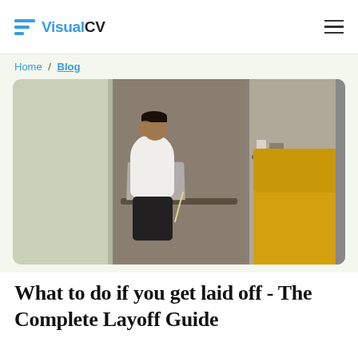VisualCV
Home / Blog
[Figure (photo): Person sitting at a small desk with a sticker-covered laptop, head resting on hand in a stressed or frustrated pose, inside a modern office or study space with green and tan partitions and yellow seating visible in the background]
What to do if you get laid off - The Complete Layoff Guide